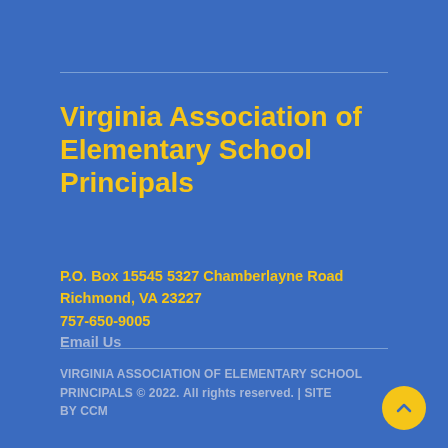Virginia Association of Elementary School Principals
P.O. Box 15545 5327 Chamberlayne Road
Richmond, VA 23227
757-650-9005
Email Us
VIRGINIA ASSOCIATION OF ELEMENTARY SCHOOL PRINCIPALS © 2022. All rights reserved. | SITE BY CCM